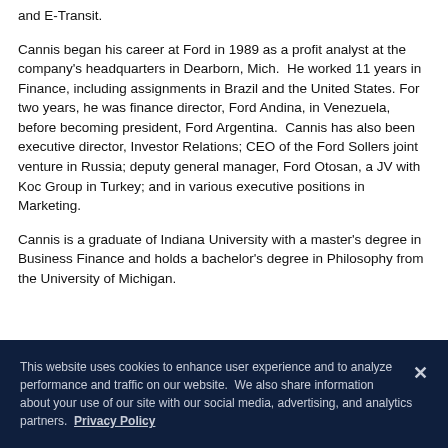and E-Transit.
Cannis began his career at Ford in 1989 as a profit analyst at the company's headquarters in Dearborn, Mich.  He worked 11 years in Finance, including assignments in Brazil and the United States. For two years, he was finance director, Ford Andina, in Venezuela, before becoming president, Ford Argentina.  Cannis has also been executive director, Investor Relations; CEO of the Ford Sollers joint venture in Russia; deputy general manager, Ford Otosan, a JV with Koc Group in Turkey; and in various executive positions in Marketing.
Cannis is a graduate of Indiana University with a master's degree in Business Finance and holds a bachelor's degree in Philosophy from the University of Michigan.
This website uses cookies to enhance user experience and to analyze performance and traffic on our website.  We also share information about your use of our site with our social media, advertising, and analytics partners.  Privacy Policy